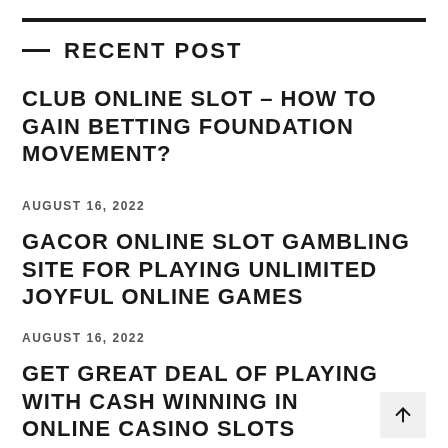— RECENT POST
CLUB ONLINE SLOT – HOW TO GAIN BETTING FOUNDATION MOVEMENT?
AUGUST 16, 2022
GACOR ONLINE SLOT GAMBLING SITE FOR PLAYING UNLIMITED JOYFUL ONLINE GAMES
AUGUST 16, 2022
GET GREAT DEAL OF PLAYING WITH CASH WINNING IN ONLINE CASINO SLOTS